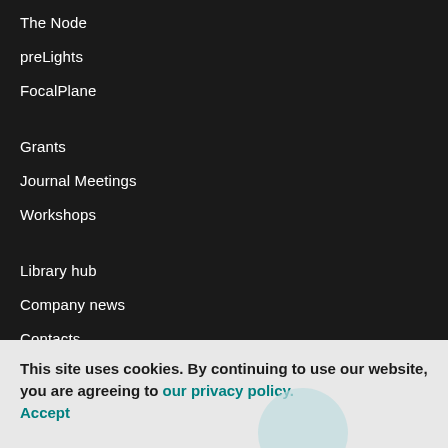The Node
preLights
FocalPlane
Grants
Journal Meetings
Workshops
Library hub
Company news
Contacts
This site uses cookies. By continuing to use our website, you are agreeing to our privacy policy. Accept